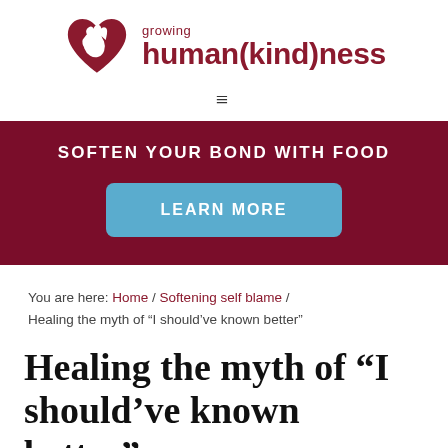[Figure (logo): Growing Human(kind)ness logo with heart and hand icon in dark red/maroon color]
≡
[Figure (infographic): Dark maroon banner with white bold uppercase text 'SOFTEN YOUR BOND WITH FOOD' and a blue rounded rectangle button labeled 'LEARN MORE']
You are here: Home / Softening self blame / Healing the myth of "I should've known better"
Healing the myth of “I should’ve known better”